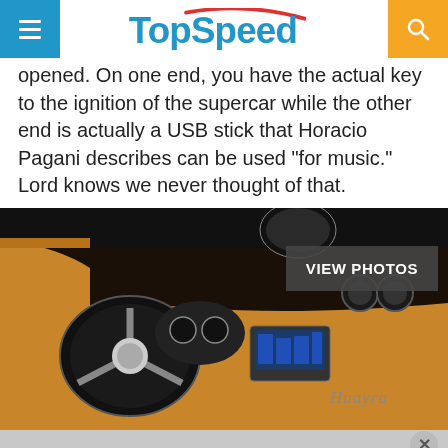TopSpeed
opened. On one end, you have the actual key to the ignition of the supercar while the other end is actually a USB stick that Horacio Pagani describes can be used "for music." Lord knows we never thought of that.
[Figure (photo): Interior of a Pagani Huayra supercar showing tan leather dashboard, steering wheel, instrument cluster, center console with infotainment screen, and Huayra script badge. A 'VIEW PHOTOS' button overlay is visible in the top right of the image.]